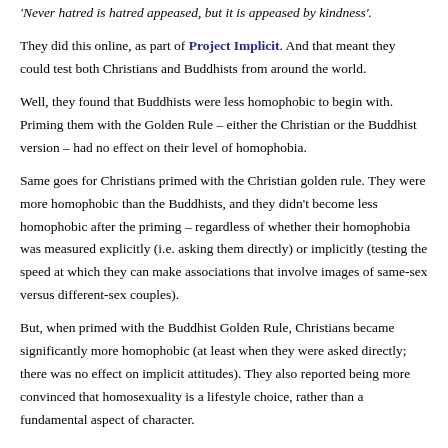'Never hatred is hatred appeased, but it is appeased by kindness'.
They did this online, as part of Project Implicit. And that meant they could test both Christians and Buddhists from around the world.
Well, they found that Buddhists were less homophobic to begin with. Priming them with the Golden Rule – either the Christian or the Buddhist version – had no effect on their level of homophobia.
Same goes for Christians primed with the Christian golden rule. They were more homophobic than the Buddhists, and they didn't become less homophobic after the priming – regardless of whether their homophobia was measured explicitly (i.e. asking them directly) or implicitly (testing the speed at which they can make associations that involve images of same-sex versus different-sex couples).
But, when primed with the Buddhist Golden Rule, Christians became significantly more homophobic (at least when they were asked directly; there was no effect on implicit attitudes). They also reported being more convinced that homosexuality is a lifestyle choice, rather than a fundamental aspect of character.
That's a really surprising result, and one that was the opposite of what they were